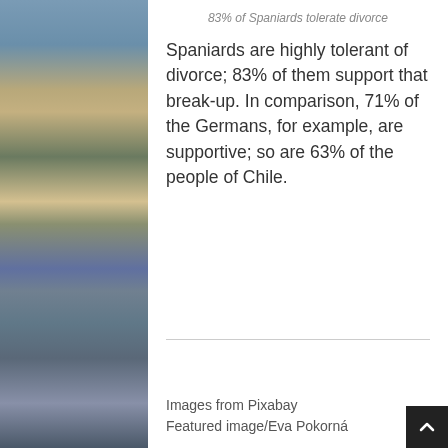83% of Spaniards tolerate divorce
Spaniards are highly tolerant of divorce; 83% of them support that break-up. In comparison, 71% of the Germans, for example, are supportive; so are 63% of the people of Chile.
[Figure (photo): Background photos of a Spanish city (Madrid) with fountains and historic buildings on left and right sides of the page]
Images from Pixabay
Featured image/Eva Pokorná